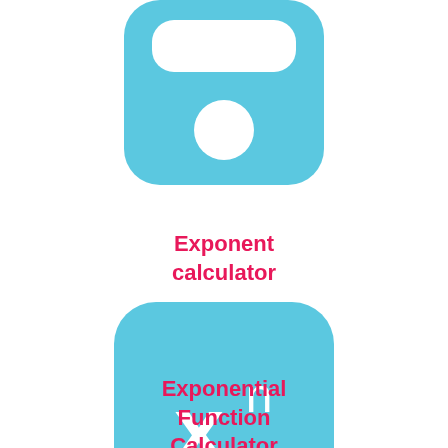[Figure (illustration): Partial view of a light blue calculator app icon showing the top portion with a white rounded rectangle display area and a white circle button below it]
Exponent calculator
[Figure (logo): Light blue rounded square app icon with white text 'x to the power n' and subtitle 'calculadora de potencias']
Exponential Function Calculator